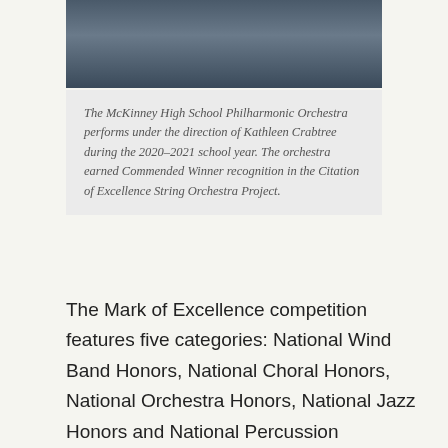[Figure (photo): McKinney High School Philharmonic Orchestra performing on stage, aerial/wide view of musicians]
The McKinney High School Philharmonic Orchestra performs under the direction of Kathleen Crabtree during the 2020–2021 school year. The orchestra earned Commended Winner recognition in the Citation of Excellence String Orchestra Project.
The Mark of Excellence competition features five categories: National Wind Band Honors, National Choral Honors, National Orchestra Honors, National Jazz Honors and National Percussion Ensemble Honors. Honors awarded in the Citation of Excellence fall under the two categories of bands and string orchestras. Groups enter the competitions by